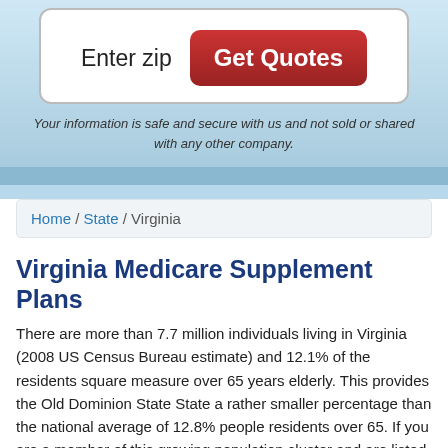[Figure (screenshot): A web form widget with 'Enter zip' label on the left and a red 'Get Quotes' button on the right, enclosed in a rounded white box.]
Your information is safe and secure with us and not sold or shared with any other company.
Home / State / Virginia
Virginia Medicare Supplement Plans
There are more than 7.7 million individuals living in Virginia (2008 US Census Bureau estimate) and 12.1% of the residents square measure over 65 years elderly. This provides the Old Dominion State State a rather smaller percentage than the national average of 12.8% people residents over 65. If you are a member of this growing population cluster and are listed in Social Security you're in all probability already listed in Medicare. What you would